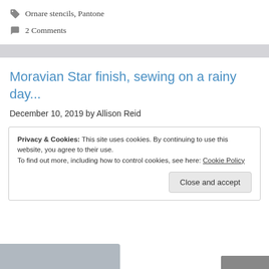🏷 Ornare stencils, Pantone
💬 2 Comments
Moravian Star finish, sewing on a rainy day...
December 10, 2019 by Allison Reid
Privacy & Cookies: This site uses cookies. By continuing to use this website, you agree to their use.
To find out more, including how to control cookies, see here: Cookie Policy
Close and accept